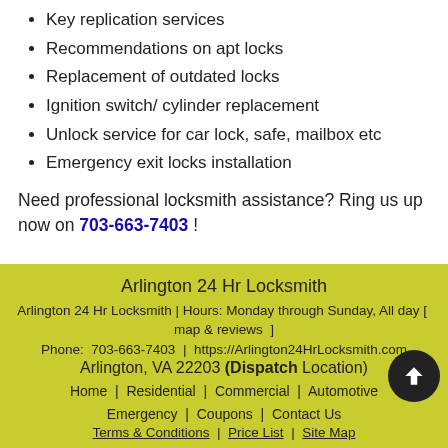Key replication services
Recommendations on apt locks
Replacement of outdated locks
Ignition switch/ cylinder replacement
Unlock service for car lock, safe, mailbox etc
Emergency exit locks installation
Need professional locksmith assistance? Ring us up now on 703-663-7403 !
Arlington 24 Hr Locksmith | Arlington 24 Hr Locksmith | Hours: Monday through Sunday, All day [ map & reviews ] | Phone: 703-663-7403 | https://Arlington24HrLocksmith.com | Arlington, VA 22203 (Dispatch Location) | Home | Residential | Commercial | Automotive | Emergency | Coupons | Contact Us | Terms & Conditions | Price List | Site Map